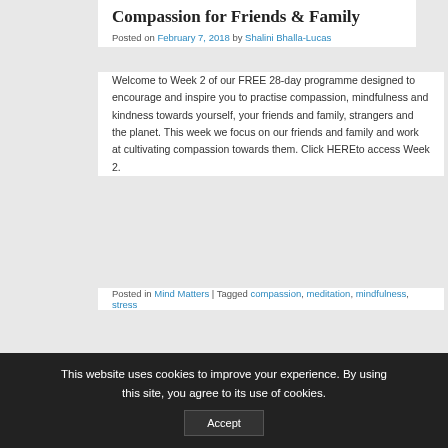Compassion for Friends & Family
Posted on February 7, 2018 by Shalini Bhalla-Lucas
Welcome to Week 2 of our FREE 28-day programme designed to encourage and inspire you to practise compassion, mindfulness and kindness towards yourself, your friends and family, strangers and the planet. This week we focus on our friends and family and work at cultivating compassion towards them. Click HEREto access Week 2.
Posted in Mind Matters | Tagged compassion, meditation, mindfulness, stress
← Older posts
This website uses cookies to improve your experience. By using this site, you agree to its use of cookies.